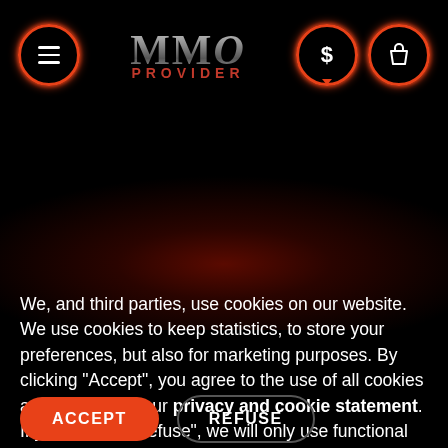MMO PROVIDER — navigation header with hamburger menu, logo, dollar and bag icons
[Figure (illustration): Dark background with a reddish glow/fire effect in the center-lower area, resembling a dark fantasy game scene]
We, and third parties, use cookies on our website. We use cookies to keep statistics, to store your preferences, but also for marketing purposes. By clicking "Accept", you agree to the use of all cookies as described in our privacy and cookie statement. If you choose "Refuse", we will only use functional cookies.